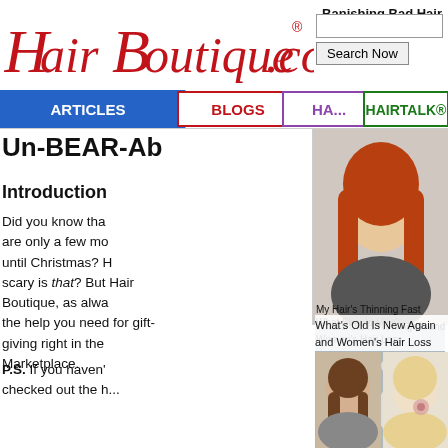[Figure (logo): HairBoutique.com logo in red italic script font with registered trademark symbol]
Banishing Bad Hair
[Figure (screenshot): Search Now button with input field]
[Figure (infographic): Navigation bar with ARTICLES (blue), BLOGS (red), HA... (purple), HAIRTALK® (green) tabs]
Un-BEAR-Ab...
Introduction
Did you know tha... are only a few mo... until Christmas? H... scary is that? But Hair Boutique, as alwa... the help you need for gift-giving right in the Marketplace.
P.S. If you haven'... checked out the h...
[Figure (photo): Woman with dark hair in a high ponytail looking down]
[Figure (photo): Young woman with long red braided hair smiling]
What's Old Is New Again and Women's Hair Loss
My Hair's Thinning Fast What Should I Do?
[Figure (photo): Woman with brown shoulder-length hair with bangs]
[Figure (photo): Close-up of blonde hair texture]